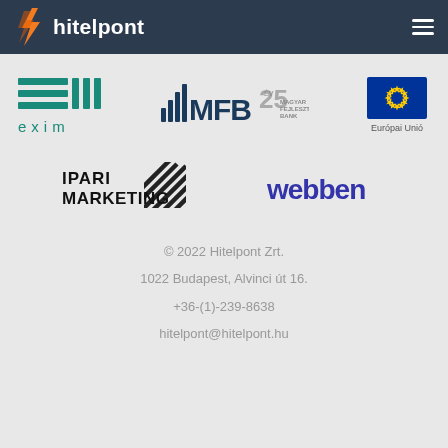hitelpont
[Figure (logo): EXIM bank logo - teal horizontal lines and columns with text 'exim']
[Figure (logo): MFB 25 Magyar Fejlesztési Bank logo]
[Figure (logo): Európai Unió (European Union) flag logo with text 'Európai Unió']
[Figure (logo): IPARI MARKETING logo with diagonal lines]
[Figure (logo): webben logo in purple bold text]
© 2022 Hitelpont Zrt.
1022 Budapest, Alvinci út 16.
+36-(1)-239-8638
hitelpont@hitelpont.hu